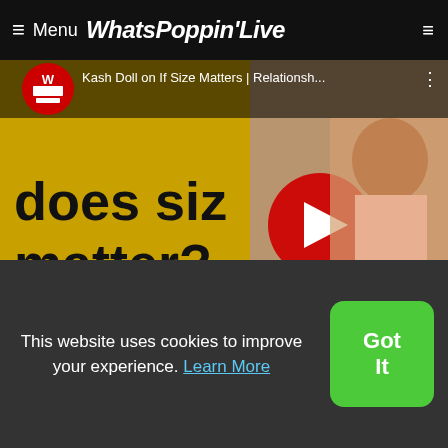≡ Menu WhatsPOppin'Live
[Figure (screenshot): YouTube video thumbnail: 'Kash Doll on If Size Matters | Relationsh...' with red play button, text 'does size matter?' on gold background, woman in pink jacket on right]
[Figure (photo): Silhouette of couple facing each other about to kiss]
[Figure (screenshot): Partial video thumbnail with text 'We're Making Love (Official Vid']
[Figure (photo): Partial image of decorative items including a heart sign saying 'LOVE']
This website uses cookies to improve your experience. Learn More
Got It